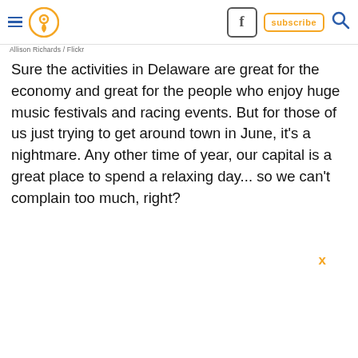≡ [pin icon] [facebook] subscribe [search]
Allison Richards / Flickr
Sure the activities in Delaware are great for the economy and great for the people who enjoy huge music festivals and racing events. But for those of us just trying to get around town in June, it's a nightmare. Any other time of year, our capital is a great place to spend a relaxing day... so we can't complain too much, right?